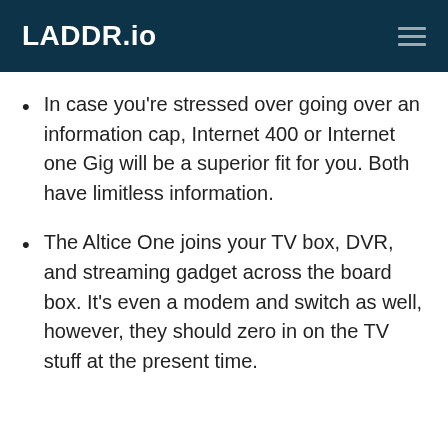LADDR.io
In case you’re stressed over going over an information cap, Internet 400 or Internet one Gig will be a superior fit for you. Both have limitless information.
The Altice One joins your TV box, DVR, and streaming gadget across the board box. It’s even a modem and switch as well, however, they should zero in on the TV stuff at the present time.